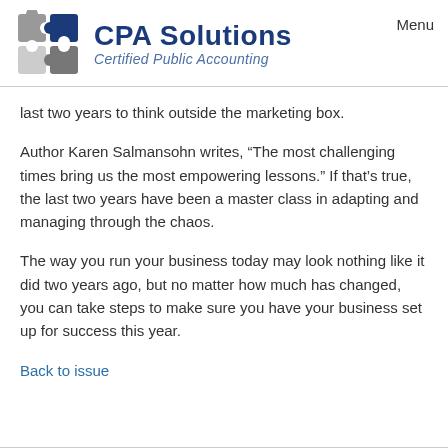CPA Solutions Certified Public Accounting Menu
last two years to think outside the marketing box.
Author Karen Salmansohn writes, “The most challenging times bring us the most empowering lessons.” If that’s true, the last two years have been a master class in adapting and managing through the chaos.
The way you run your business today may look nothing like it did two years ago, but no matter how much has changed, you can take steps to make sure you have your business set up for success this year.
Back to issue